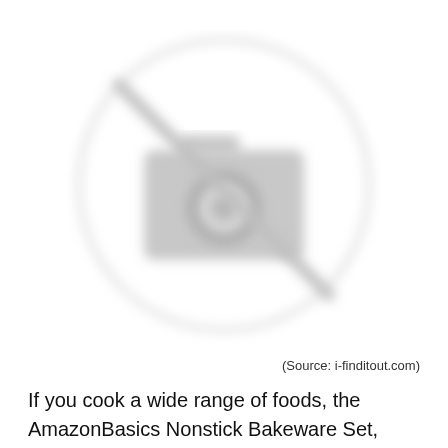[Figure (illustration): A blurred/placeholder image showing a camera icon with a diagonal line through it inside a circle, indicating an unavailable or missing image. The icon is light gray on a white background.]
(Source: i-finditout.com)
If you cook a wide range of foods, the AmazonBasics Nonstick Bakeware Set, 6-Piece is a great choice, as it’s built to handle temperatures of